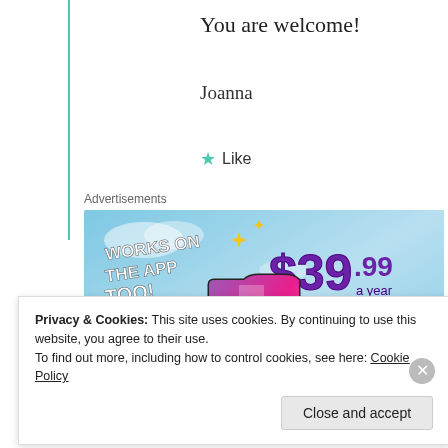You are welcome!
Joanna
★ Like
Advertisements
[Figure (infographic): Tumblr advertisement banner showing 'WORKS ON THE APP TOO!' with pricing $39.99 a year or $4.99 a month + FREE SHIPPING on a sky blue background with the Tumblr 't' logo]
Privacy & Cookies: This site uses cookies. By continuing to use this website, you agree to their use. To find out more, including how to control cookies, see here: Cookie Policy
Close and accept